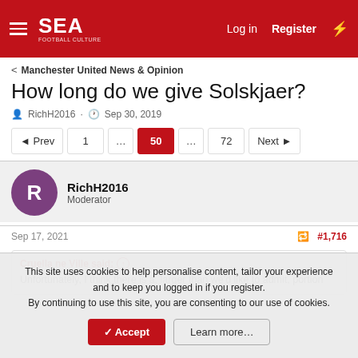SEA — Log in | Register
Manchester United News & Opinion
How long do we give Solskjaer?
RichH2016 · Sep 30, 2019
Prev  1  …  50  …  72  Next
RichH2016
Moderator
Sep 17, 2021  #1,716
Cruella ne Ville said: ↑
Unfortunately, I think there is a, larger than we'd like to admit, portion
This site uses cookies to help personalise content, tailor your experience and to keep you logged in if you register.
By continuing to use this site, you are consenting to our use of cookies.
Accept   Learn more…